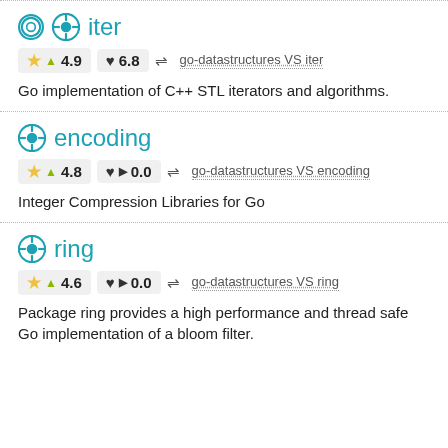iter
★ ▲ 4.9   ♥ 6.8   ⇌ go-datastructures VS iter
Go implementation of C++ STL iterators and algorithms.
encoding
★ ▲ 4.8   ♥ ▶ 0.0   ⇌ go-datastructures VS encoding
Integer Compression Libraries for Go
ring
★ ▲ 4.6   ♥ ▶ 0.0   ⇌ go-datastructures VS ring
Package ring provides a high performance and thread safe Go implementation of a bloom filter.